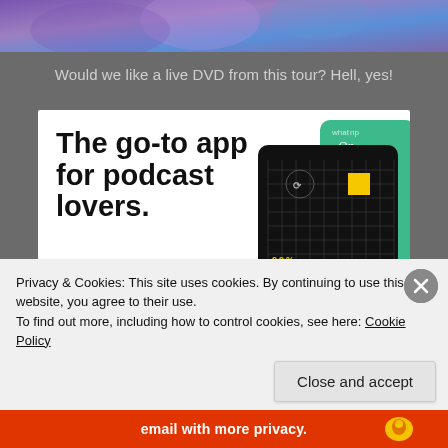[Figure (photo): Top portion of a concert or event photo with purple and blue lighting]
Would we like a live DVD from this tour? Hell, yes!
[Figure (infographic): Advertisement for a podcast app: 'The go-to app for podcast lovers. Download now' with app card visuals including 99% Invisible podcast artwork]
Privacy & Cookies: This site uses cookies. By continuing to use this website, you agree to their use.
To find out more, including how to control cookies, see here: Cookie Policy
Close and accept
email with more privacy.